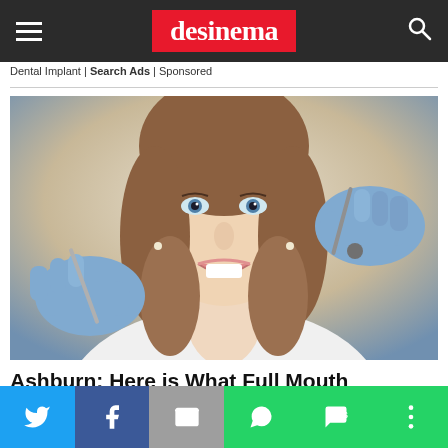desinema
Dental Implant | Search Ads | Sponsored
[Figure (photo): Young woman smiling at a dental clinic with blue-gloved dentist hands holding dental instruments near her mouth]
Ashburn: Here is What Full Mouth Implants May Cost You!
Share buttons: Twitter, Facebook, Email, WhatsApp, SMS, More